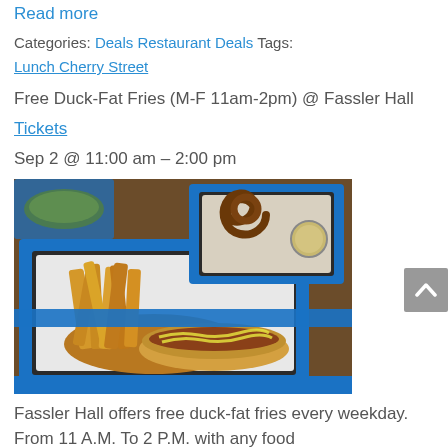Read more
Categories: Deals Restaurant Deals Tags:
Lunch Cherry Street
Free Duck-Fat Fries (M-F 11am-2pm) @ Fassler Hall
Tickets
Sep 2 @ 11:00 am – 2:00 pm
[Figure (photo): Photo of food trays with duck-fat fries, a hot dog, and a pretzel on blue trays at Fassler Hall]
Fassler Hall offers free duck-fat fries every weekday. From 11 A.M. To 2 P.M. with any food